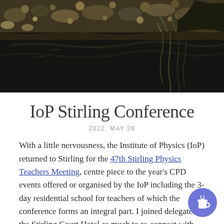[Figure (photo): Nature scene showing rocks and water with dark reflections and reeds/grass, shot outdoors near a stream or loch]
IoP Stirling Conference
2022, MAY 26
With a little nervousness, the Institute of Physics (IoP) returned to Stirling for the 47th Stirling Physics Teachers Meeting, centre piece to the year's CPD events offered or organised by the IoP including the 3-day residential school for teachers of which the conference forms an integral part. I joined delegates at the Stirling Court Hotel as much to re-connect with the physics teaching